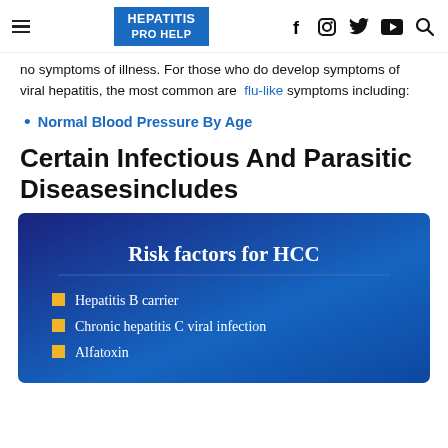HEPATITIS PRO HELP
no symptoms of illness. For those who do develop symptoms of viral hepatitis, the most common are flu-like symptoms including:
Normal Blood Pressure By Age
Certain Infectious And Parasitic Diseasesincludes
[Figure (infographic): Dark blue gradient slide titled 'Risk factors for HCC' with yellow square bullet points listing: Hepatitis B carrier, Chronic hepatitis C viral infection, Alfatoxin]